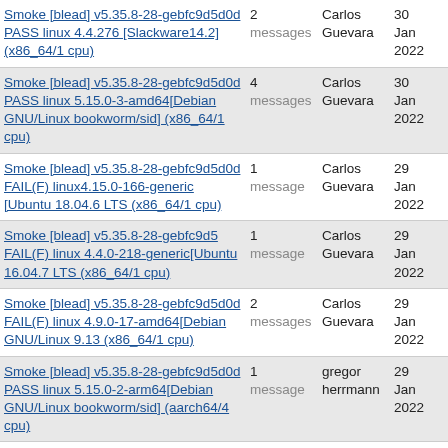Smoke [blead] v5.35.8-28-gebfc9d5d0d PASS linux 4.4.276 [Slackware14.2] (x86_64/1 cpu) | 2 messages | Carlos Guevara | 30 Jan 2022
Smoke [blead] v5.35.8-28-gebfc9d5d0d PASS linux 5.15.0-3-amd64[Debian GNU/Linux bookworm/sid] (x86_64/1 cpu) | 4 messages | Carlos Guevara | 30 Jan 2022
Smoke [blead] v5.35.8-28-gebfc9d5d0d FAIL(F) linux4.15.0-166-generic [Ubuntu 18.04.6 LTS (x86_64/1 cpu) | 1 message | Carlos Guevara | 29 Jan 2022
Smoke [blead] v5.35.8-28-gebfc9d5 FAIL(F) linux 4.4.0-218-generic[Ubuntu 16.04.7 LTS (x86_64/1 cpu) | 1 message | Carlos Guevara | 29 Jan 2022
Smoke [blead] v5.35.8-28-gebfc9d5d0d FAIL(F) linux 4.9.0-17-amd64[Debian GNU/Linux 9.13 (x86_64/1 cpu) | 2 messages | Carlos Guevara | 29 Jan 2022
Smoke [blead] v5.35.8-28-gebfc9d5d0d PASS linux 5.15.0-2-arm64[Debian GNU/Linux bookworm/sid] (aarch64/4 cpu) | 1 message | gregor herrmann | 29 Jan 2022
Smoke [blead] v5.35.8-28-gebfc9d5d0d PASS linux 4.19.0-18-amd64[Debian GNU/Linux 10.11 (x86_64/1 cpu) | 1 message | Carlos Guevara | 28 Jan 2022
Smoke [blead] v5.35.8-28-gebfc9d5d0d PASS linux5.3.12-200.fc30.x86_64 | 1 message | George Greer | 28 Jan